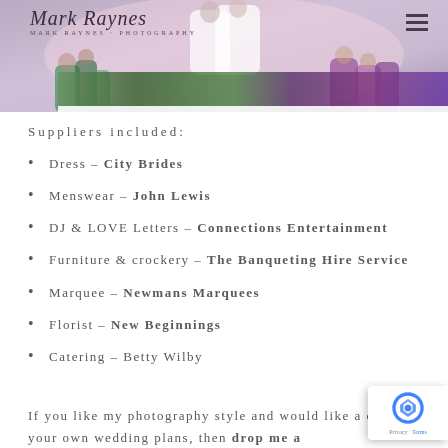[Figure (photo): Wedding dance photo with Mark Raynes Photography logo and hamburger menu icon in the header area. Shows couple dancing with colorful lighting and guests in background.]
Suppliers included:
Dress – City Brides
Menswear – John Lewis
DJ & LOVE Letters – Connections Entertainment
Furniture & crockery – The Banqueting Hire Service
Marquee – Newmans Marquees
Florist – New Beginnings
Catering – Betty Wilby
If you like my photography style and would like a chat about your own wedding plans, then drop me a